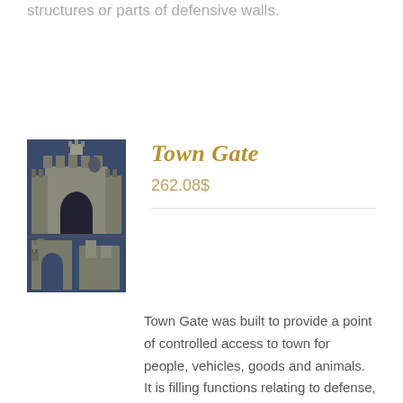structures or parts of defensive walls.
[Figure (photo): 3D render of a medieval town gate structure shown from multiple angles against a dark blue background]
Town Gate
262.08$
Town Gate was built to provide a point of controlled access to town for people, vehicles, goods and animals. It is filling functions relating to defense, security, health, trade, taxation and is therefore staffed by military and municipal